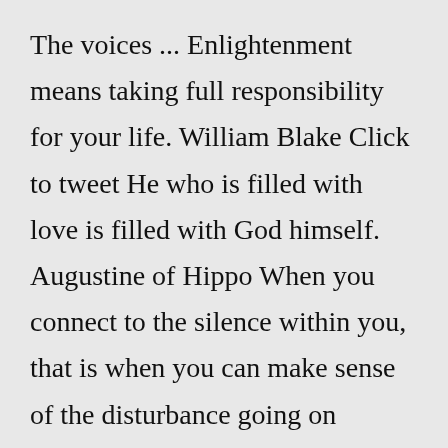The voices ... Enlightenment means taking full responsibility for your life. William Blake Click to tweet He who is filled with love is filled with God himself. Augustine of Hippo When you connect to the silence within you, that is when you can make sense of the disturbance going on around you. Stephen Richards Fools laugh at others. Wisdom laughs at itself. OshoWise Quotes about Enlightenment. May you find